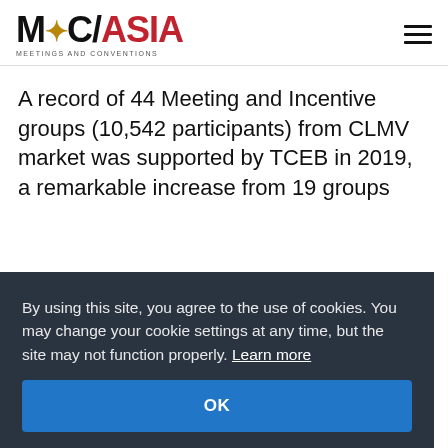MC/ASIA — MEETINGS AND CONVENTIONS
A record of 44 Meeting and Incentive groups (10,542 participants) from CLMV market was supported by TCEB in 2019, a remarkable increase from 19 groups
By using this site, you agree to the use of cookies. You may change your cookie settings at any time, but the site may not function properly. Learn more
OK
ellers Central the inclusion of shopping privileges at Central in various